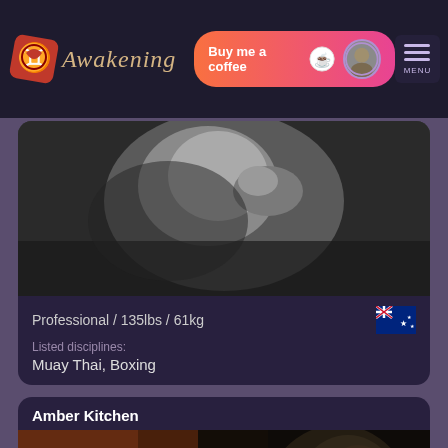[Figure (screenshot): Website navigation bar with Awakening logo, Buy me a coffee button, user avatar, and MENU button on dark background]
[Figure (photo): Black and white close-up photo of a female fighter in boxing pose]
Professional / 135lbs / 61kg
Listed disciplines:
Muay Thai, Boxing
Amber Kitchen
[Figure (photo): Color photo of Amber Kitchen female fighter profile view in dark lighting]
Professional / 124lbs / 56kg
Listed disciplines:
Muay Thai